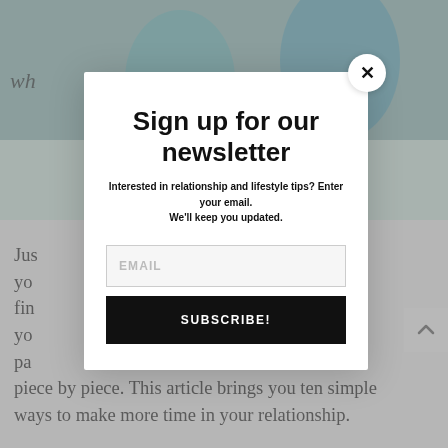[Figure (photo): Background article page showing a photo of two people sitting on the floor, partially obscured by a modal overlay. Behind the modal, partial article text is visible.]
Sign up for our newsletter
Interested in relationship and lifestyle tips? Enter your email. We'll keep you updated.
EMAIL
SUBSCRIBE!
Just s ways find you par piece by piece. This article brings you ten simple ways to make more time in your relationship.